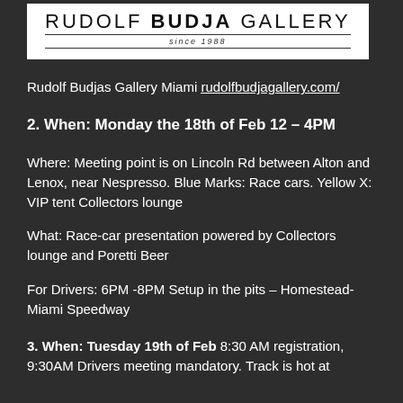[Figure (logo): Rudolf Budja Gallery logo — white box with 'RUDOLF BUDJA GALLERY' text and 'since 1988' tagline with horizontal rules]
Rudolf Budjas Gallery Miami rudolfbudjagallery.com/
2. When: Monday the 18th of Feb 12 – 4PM
Where: Meeting point is on Lincoln Rd between Alton and Lenox, near Nespresso. Blue Marks: Race cars. Yellow X: VIP tent Collectors lounge
What: Race-car presentation powered by Collectors lounge and Poretti Beer
For Drivers: 6PM -8PM Setup in the pits – Homestead-Miami Speedway
3. When: Tuesday 19th of Feb 8:30 AM registration, 9:30AM Drivers meeting mandatory. Track is hot at